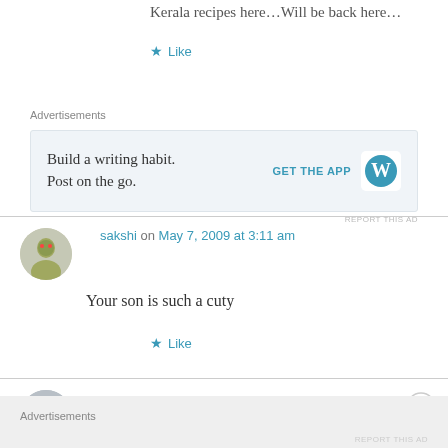Kerala recipes here...Will be back here...
Like
Advertisements
[Figure (screenshot): WordPress app advertisement: 'Build a writing habit. Post on the go.' with GET THE APP button and WordPress logo]
REPORT THIS AD
sakshi on May 7, 2009 at 3:11 am
Your son is such a cuty
Like
Saritha on May 7, 2009 at 10:53 am
Advertisements
REPORT THIS AD